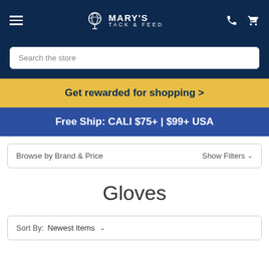Mary's Tack & Feed
Search the store
Get rewarded for shopping >
Free Ship: CALI $75+ | $99+ USA
Browse by Brand & Price   Show Filters
Gloves
Sort By: Newest Items